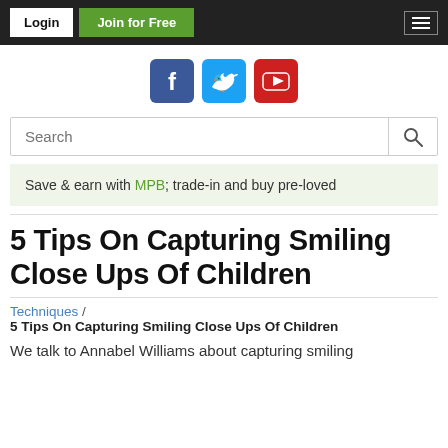Login | Join for Free | [menu]
[Figure (illustration): Social media icons: Facebook (blue), Twitter (light blue), YouTube (red)]
Search
Save & earn with MPB; trade-in and buy pre-loved
5 Tips On Capturing Smiling Close Ups Of Children
Techniques / 5 Tips On Capturing Smiling Close Ups Of Children
We talk to Annabel Williams about capturing smiling